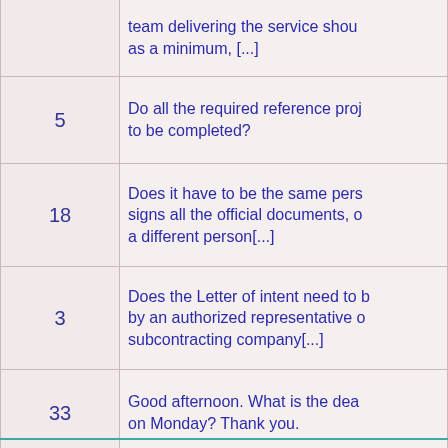| # | Question |
| --- | --- |
|  | team delivering the service shou as a minimum, [...] |
| 5 | Do all the required reference proj to be completed? |
| 18 | Does it have to be the same pers signs all the official documents, o a different person[...] |
| 3 | Does the Letter of intent need to b by an authorized representative o subcontracting company[...] |
| 33 | Good afternoon. What is the dea on Monday? Thank you. |
| 22 | I'm urgently Looking for the requi the tender report - can you help w informations[...] |
| 20 | In Annex 2 - Letter of Submission it is asked to fill the name of the " authorized to[...] |